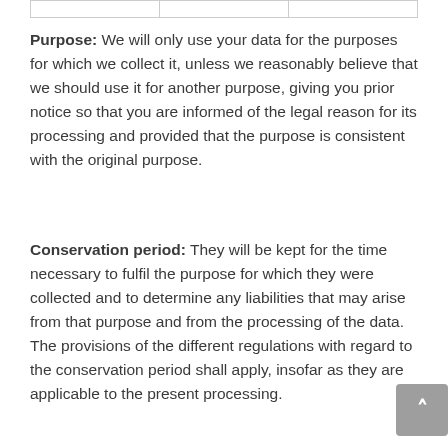|  |  |  |
| --- | --- | --- |
|   |   |   |
Purpose: We will only use your data for the purposes for which we collect it, unless we reasonably believe that we should use it for another purpose, giving you prior notice so that you are informed of the legal reason for its processing and provided that the purpose is consistent with the original purpose.
Conservation period: They will be kept for the time necessary to fulfil the purpose for which they were collected and to determine any liabilities that may arise from that purpose and from the processing of the data. The provisions of the different regulations with regard to the conservation period shall apply, insofar as they are applicable to the present processing.